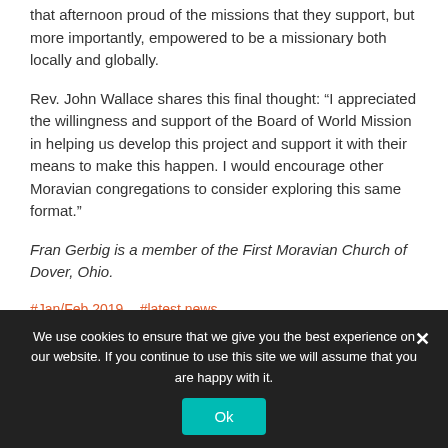that afternoon proud of the missions that they support, but more importantly, empowered to be a missionary both locally and globally.
Rev. John Wallace shares this final thought: “I appreciated the willingness and support of the Board of World Mission in helping us develop this project and support it with their means to make this happen. I would encourage other Moravian congregations to consider exploring this same format.”
Fran Gerbig is a member of the First Moravian Church of Dover, Ohio.
#Jan/Feb 2019  #latest news
We use cookies to ensure that we give you the best experience on our website. If you continue to use this site we will assume that you are happy with it.